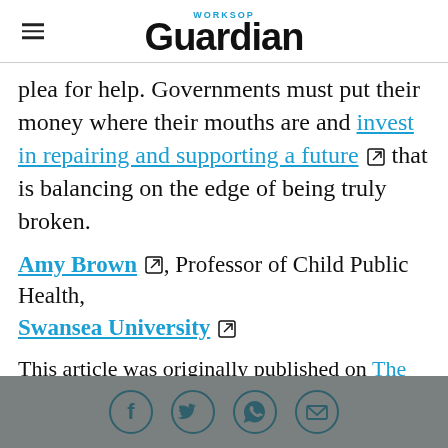WORKSOP Guardian
plea for help. Governments must put their money where their mouths are and invest in repairing and supporting a future that is balancing on the edge of being truly broken.
Amy Brown, Professor of Child Public Health, Swansea University
This article was originally published on The Conversation. Read the original article.
[Figure (other): Footer with social media icons: Facebook, Twitter, phone/WhatsApp, and email in circles on a gray background]